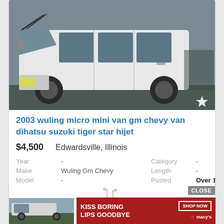[Figure (photo): White van/micro mini van photographed from the side-front angle, showing windshield, side windows, and body panels. A white star icon appears in the lower-right corner of the photo.]
2003 wuling micro mini van gm chevy van dihatsu suzuki tiger star hijet
$4,500   Edwardsville, Illinois
| Field | Value | Field | Value |
| --- | --- | --- | --- |
| Year | - | Category | - |
| Make | Wuling Gm Chevy | Length | - |
| Model | - | Posted | Over 1 Month |
[Figure (photo): Partial view of second vehicle listing below, partially obscured by advertisement banner]
[Figure (infographic): Advertisement banner for Macy's with text 'KISS BORING LIPS GOODBYE' on red background, with 'SHOP NOW' button and Macy's star logo. 'CLOSE' button in gray at top right of ad area.]